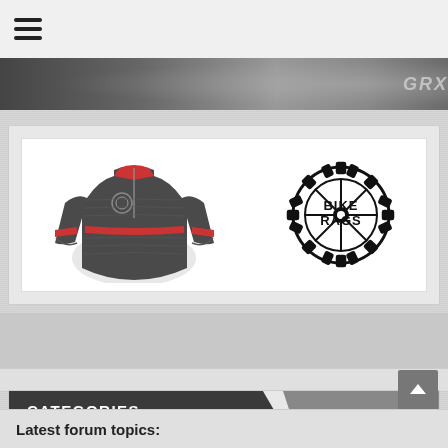☰ (hamburger menu icon)
[Figure (photo): Grayscale banner/hero image of cycling gear with 'GRX' text visible on right side]
[Figure (photo): Sponsor card showing a dark gray cycling jersey with red accents on the left and the Bike Rags gear/sprocket logo on the right]
CATEGORIES
Select Category
Latest forum topics: